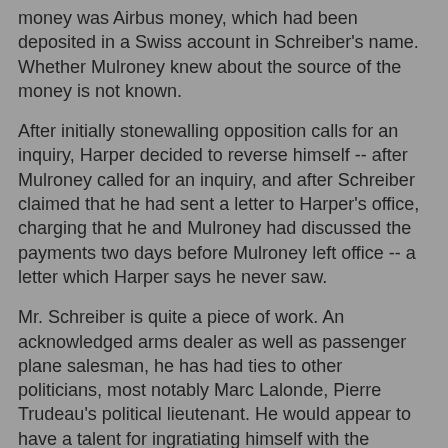money was Airbus money, which had been deposited in a Swiss account in Schreiber's name. Whether Mulroney knew about the source of the money is not known.
After initially stonewalling opposition calls for an inquiry, Harper decided to reverse himself -- after Mulroney called for an inquiry, and after Schreiber claimed that he had sent a letter to Harper's office, charging that he and Mulroney had discussed the payments two days before Mulroney left office -- a letter which Harper says he never saw.
Mr. Schreiber is quite a piece of work. An acknowledged arms dealer as well as passenger plane salesman, he has had ties to other politicians, most notably Marc Lalonde, Pierre Trudeau's political lieutenant. He would appear to have a talent for ingratiating himself with the powers that be -- whatever their political stripe. He has been ordered to return to Germany, where he faces charges of fraud and tax evasion. It is in his self interest -- something he has promoted quite successfully -- to drag Mulroney into the mess in which he now finds himself.